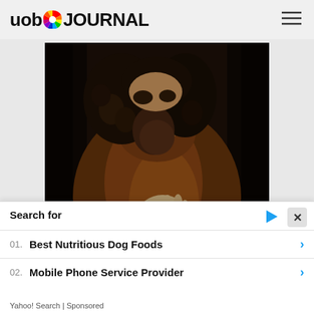uob JOURNAL
[Figure (photo): Close-up detail of a Renaissance painting showing a bearded man in brown robes with curly hair, holding something in his hand — appears to be a detail from a self-portrait painting.]
“Self-portrait” (another name for the
Search for
01. Best Nutritious Dog Foods
02. Mobile Phone Service Provider
Yahoo! Search | Sponsored